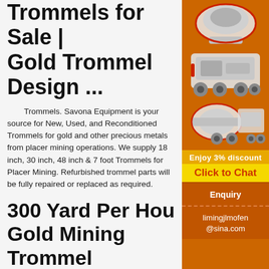Trommels for Sale | Gold Trommel Design ...
Trommels. Savona Equipment is your source for New, Used, and Reconditioned Trommels for gold and other precious metals from placer mining operations. We supply 18 inch, 30 inch, 48 inch & 7 foot Trommels for Placer Mining. Refurbished trommel parts will be fully repaired or replaced as required.
300 Yard Per Hour Gold Mining Trommel
[Figure (photo): Mining equipment advertisement sidebar with orange background showing images of crushers and mills, with 'Enjoy 3% discount', 'Click to Chat', 'Enquiry', and 'limingjlmofen@sina.com' sections]
300 yard per hour gold wash plant -- China Mining Equipment CO., Ltd. s8/s7 trommel wash plant, the gold